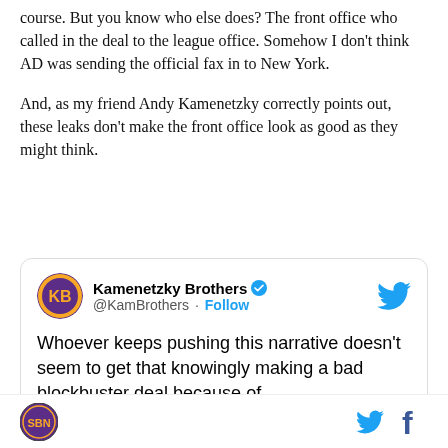course. But you know who else does? The front office who called in the deal to the league office. Somehow I don't think AD was sending the official fax in to New York.
And, as my friend Andy Kamenetzky correctly points out, these leaks don't make the front office look as good as they might think.
[Figure (screenshot): Embedded tweet from @KamBrothers (Kamenetzky Brothers, verified account) with Twitter bird icon. Text reads: 'Whoever keeps pushing this narrative doesn't seem to get that knowingly making a bad blockbuster deal because of']
SB Nation logo | Twitter icon | Facebook icon